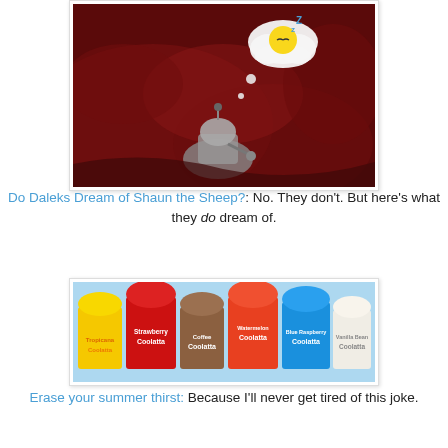[Figure (photo): A Dalek (Doctor Who robot) tucked under dark red blankets/bedding, with a thought bubble above showing a sleeping emoji face]
Do Daleks Dream of Shaun the Sheep?: No. They don't. But here's what they do dream of.
[Figure (photo): Multiple Dunkin Donuts Coolatta frozen drinks in various flavors and colors: yellow (Tropicana Coolatta), red (Strawberry Coolatta), brown (Coffee Coolatta), orange-red, blue (Blue Raspberry Coolatta), and vanilla/white (Vanilla Bean Coolatta)]
Erase your summer thirst: Because I'll never get tired of this joke.